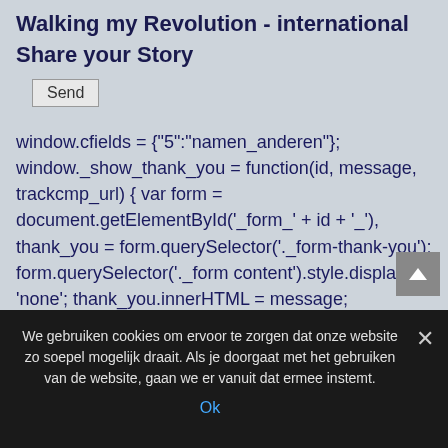Walking my Revolution - international
Share your Story
Send
window.cfields = {"5":"namen_anderen"}; window._show_thank_you = function(id, message, trackcmp_url) { var form = document.getElementById('_form_' + id + '_'), thank_you = form.querySelector('._form-thank-you'); form.querySelector('._form content').style.display = 'none'; thank_you.innerHTML = message; thank_you.style.display = 'block'; if (typeof(trackcmp_url) != 'undefined' && &
We gebruiken cookies om ervoor te zorgen dat onze website zo soepel mogelijk draait. Als je doorgaat met het gebruiken van de website, gaan we er vanuit dat ermee instemt.
Ok